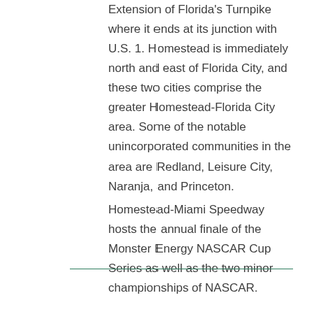Extension of Florida's Turnpike where it ends at its junction with U.S. 1. Homestead is immediately north and east of Florida City, and these two cities comprise the greater Homestead-Florida City area. Some of the notable unincorporated communities in the area are Redland, Leisure City, Naranja, and Princeton.
Homestead-Miami Speedway hosts the annual finale of the Monster Energy NASCAR Cup Series as well as the two minor championships of NASCAR.